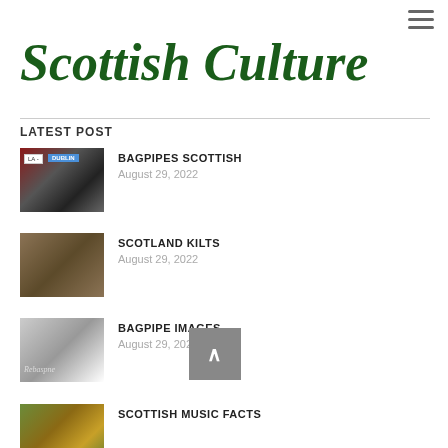≡
Scottish Culture
LATEST POST
BAGPIPES SCOTTISH
August 29, 2022
SCOTLAND KILTS
August 29, 2022
BAGPIPE IMAGES
August 29, 2022
SCOTTISH MUSIC FACTS